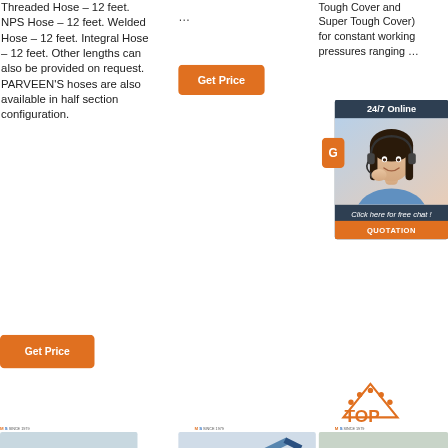Threaded Hose – 12 feet. NPS Hose – 12 feet. Welded Hose – 12 feet. Integral Hose – 12 feet. Other lengths can also be provided on request. PARVEEN'S hoses are also available in half section configuration.
…
[Figure (other): Orange 'Get Price' button (top center area)]
Tough Cover and Super Tough Cover) for constant working pressures ranging …
[Figure (other): Chat widget with dark blue background, '24/7 Online' header, photo of smiling woman with headset, 'Click here for free chat!' text, and orange QUOTATION button]
[Figure (other): Partial orange button showing 'G']
[Figure (other): Orange 'Get Price' button (bottom left)]
[Figure (logo): TOP logo with dots arc above letters]
[Figure (logo): MLS SINCE 1979 logo (left column)]
[Figure (photo): Construction equipment / yellow machine photo (left product)]
[Figure (logo): MLS SINCE 1979 logo (center column)]
[Figure (photo): Excavator / construction machinery photo (center product)]
[Figure (logo): MLS SINCE 1979 logo (right column)]
[Figure (photo): Construction equipment photo (right product, partial)]